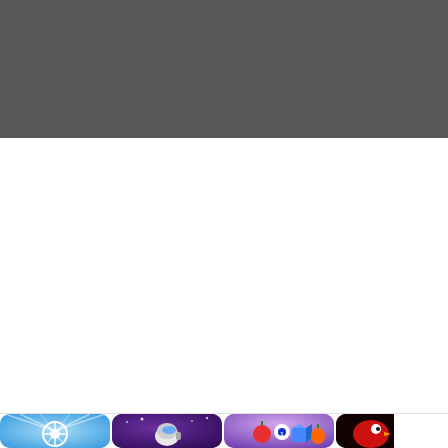[Figure (screenshot): Dark gray header bar at the top of a mobile app store or similar UI]
[Figure (screenshot): White content area below the dark header]
[Figure (screenshot): Row of app icons at the bottom: a wheel/spin game icon (blue), an Among Us style game icon (purple/dark), a colorful balls/food game icon (purple), and a partial dark red/black game icon]